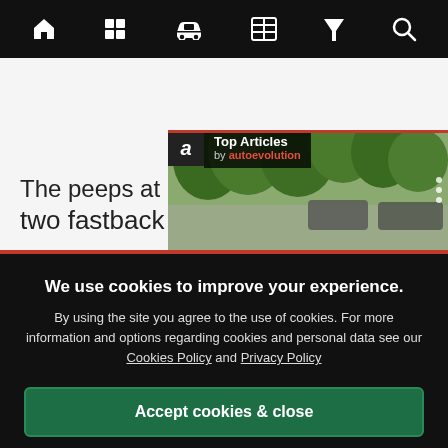[Figure (screenshot): Mobile navigation bar with icons: home, grid, car, newspaper, filter/funnel, search on black background]
[Figure (screenshot): Article page area showing partial text 'The peeps at M... two fastback' overlaid with a 'Top Articles by autoevolution' widget showing a photo of cars in a parking lot with trees]
We use cookies to improve your experience. By using the site you agree to the use of cookies. For more information and options regarding cookies and personal data see our Cookies Policy and Privacy Policy
Accept cookies & close
California residents: Do Not Sell My Info